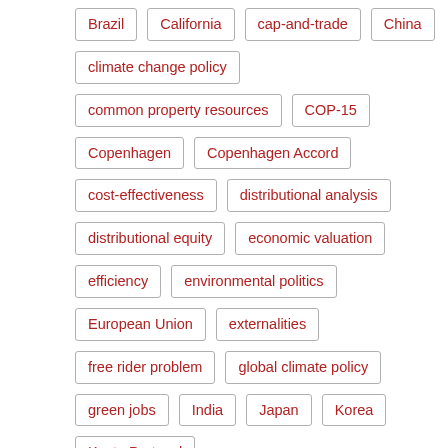Brazil
California
cap-and-trade
China
climate change policy
common property resources
COP-15
Copenhagen
Copenhagen Accord
cost-effectiveness
distributional analysis
distributional equity
economic valuation
efficiency
environmental politics
European Union
externalities
free rider problem
global climate policy
green jobs
India
Japan
Korea
Kyoto Protocol